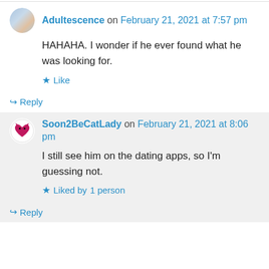Adultescence on February 21, 2021 at 7:57 pm
HAHAHA. I wonder if he ever found what he was looking for.
★ Like
↪ Reply
Soon2BeCatLady on February 21, 2021 at 8:06 pm
I still see him on the dating apps, so I'm guessing not.
★ Liked by 1 person
↪ Reply